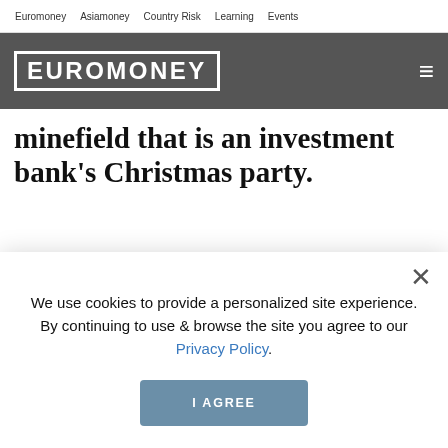Euromoney  Asiamoney  Country Risk  Learning  Events
[Figure (logo): Euromoney logo - white bold text with border on dark grey background, with hamburger menu icon]
minefield that is an investment bank's Christmas party.
We use cookies to provide a personalized site experience. By continuing to use & browse the site you agree to our Privacy Policy.
I AGREE
It is that time of year again when fit-inducing commercialism combines with nonstop Rat Pack